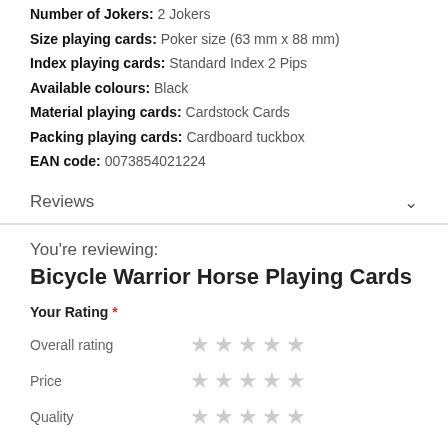Number of Jokers: 2 Jokers
Size playing cards: Poker size (63 mm x 88 mm)
Index playing cards: Standard Index 2 Pips
Available colours: Black
Material playing cards: Cardstock Cards
Packing playing cards: Cardboard tuckbox
EAN code: 0073854021224
Reviews
You're reviewing:
Bicycle Warrior Horse Playing Cards
Your Rating *
Overall rating ★★★★★
Price ★★★★★
Quality ★★★★★